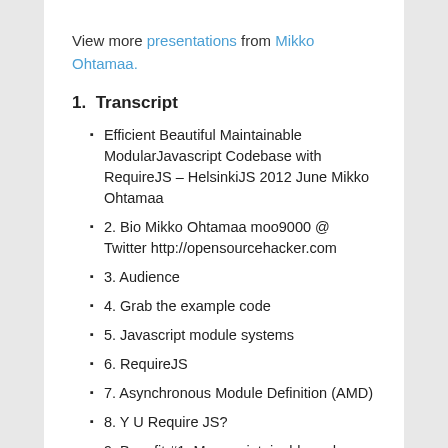View more presentations from Mikko Ohtamaa.
1.  Transcript
Efficient Beautiful Maintainable ModularJavascript Codebase with RequireJS – HelsinkiJS 2012 June Mikko Ohtamaa
2. Bio Mikko Ohtamaa moo9000 @ Twitter http://opensourcehacker.com
3. Audience
4. Grab the example code
5. Javascript module systems
6. RequireJS
7. Asynchronous Module Definition (AMD)
8. Y U Require JS?
9. Benefit #1: Moremaintainable code base
10. Benefit #2: parallel loading of non-interdependent modules
11. Benefit #3: automatic, more optimized, minification